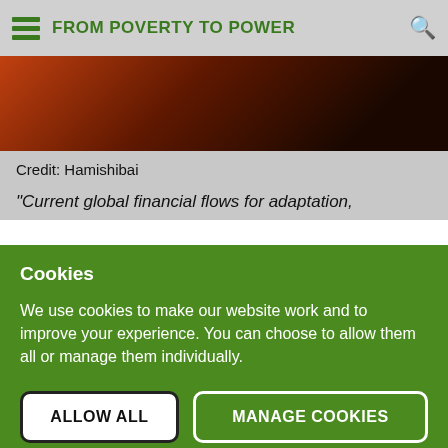FROM POVERTY TO POWER
[Figure (photo): Partial photo strip showing a dark reddish-brown image, likely a person or scene, cropped to a narrow horizontal band]
Credit: Hamishibai
“Current global financial flows for adaptation,
Cookies
We use cookies to make our website work and to improve your experience. You can choose to allow them all or manage them individually.
ALLOW ALL
MANAGE COOKIES